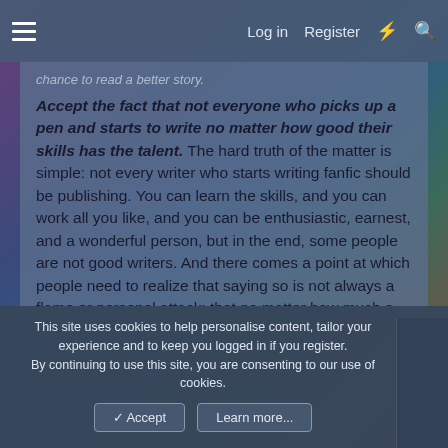Log in  Register
chance to read a better story.
Accept the fact that not everyone who picks up a pen and starts to write no matter how good their skills has the talent. The hard truth of the matter is simple: not every writer who starts writing fanfic should be publishing. You can learn the skills, and you can work all you like, and you can be enthusiastic, earnest, and a wonderful person, but in the end, some people are not good writers. And there comes a point at which people need to realize that saying so is not always a flame or personal attack; that no matter how much a fan writer loves writing, and feels great about sharing their work, and pours their heart and soul into their fiction, all the good intentions in the world cannot make
This site uses cookies to help personalise content, tailor your experience and to keep you logged in if you register.
By continuing to use this site, you are consenting to our use of cookies.